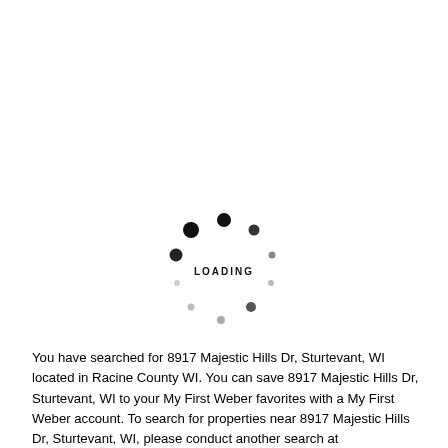[Figure (other): A circular loading spinner graphic with dots of varying sizes arranged in a circle, with the text 'LOADING' in the center.]
You have searched for 8917 Majestic Hills Dr, Sturtevant, WI located in Racine County WI. You can save 8917 Majestic Hills Dr, Sturtevant, WI to your My First Weber favorites with a My First Weber account. To search for properties near 8917 Majestic Hills Dr, Sturtevant, WI, please conduct another search at firstweber.com, the most comprehensive source for Wisconsin...